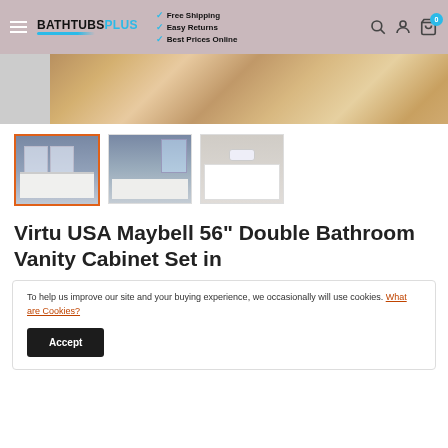BATHTUBS PLUS — Free Shipping, Easy Returns, Best Prices Online
[Figure (photo): Partial product image showing a fur/sheepskin rug on a white surface, cropped at top]
[Figure (photo): Three product thumbnail images of a double bathroom vanity cabinet set. First thumbnail is selected with orange border.]
Virtu USA Maybell 56" Double Bathroom Vanity Cabinet Set in
To help us improve our site and your buying experience, we occasionally will use cookies. What are Cookies?
Accept